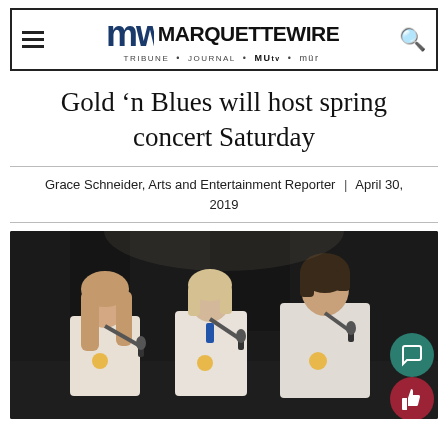MARQUETTE WIRE — Tribune • Journal • MUTV • mür
Gold 'n Blues will host spring concert Saturday
Grace Schneider, Arts and Entertainment Reporter | April 30, 2019
[Figure (photo): Three performers singing into microphones on a dark stage, wearing white outfits with gold circular badges.]